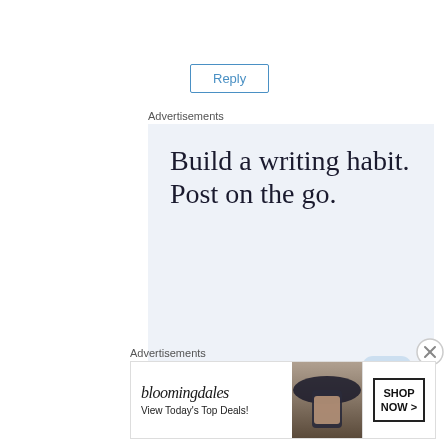Reply
Advertisements
[Figure (illustration): WordPress app advertisement with light blue background. Large serif text reads 'Build a writing habit. Post on the go.' with 'GET THE APP' in blue uppercase and a WordPress app icon in the lower right corner.]
REPORT THIS AD
Advertisements
[Figure (illustration): Bloomingdale's advertisement banner showing 'bloomingdales' logo in serif italic, 'View Today's Top Deals!' text, a woman wearing a large brimmed hat, and a 'SHOP NOW >' button.]